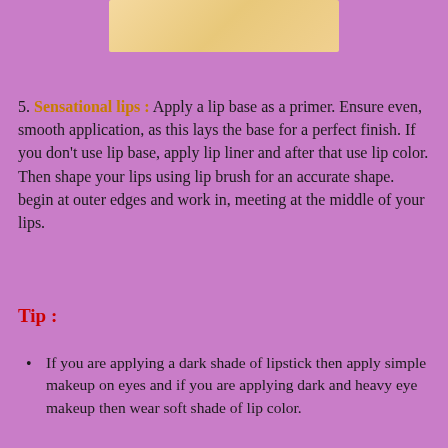[Figure (photo): Partial image visible at top of page showing a peach/tan colored rectangular area, likely a cropped beauty/makeup related photo]
5. Sensational lips : Apply a lip base as a primer. Ensure even, smooth application, as this lays the base for a perfect finish. If you don't use lip base, apply lip liner and after that use lip color. Then shape your lips using lip brush for an accurate shape. begin at outer edges and work in, meeting at the middle of your lips.
Tip :
If you are applying a dark shade of lipstick then apply simple makeup on eyes and if you are applying dark and heavy eye makeup then wear soft shade of lip color.